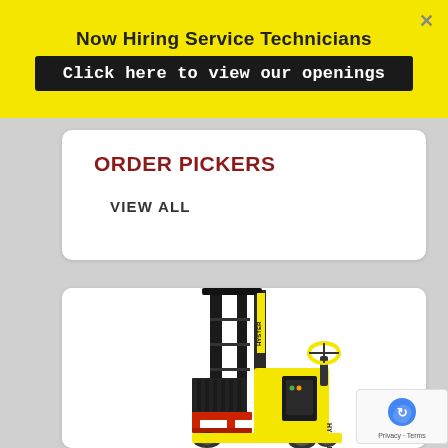Now Hiring Service Technicians
Click here to view our openings
ORDER PICKERS
VIEW ALL
[Figure (photo): Hyster order picker / forklift machine, yellow and black, with red fork arms, shown on white background]